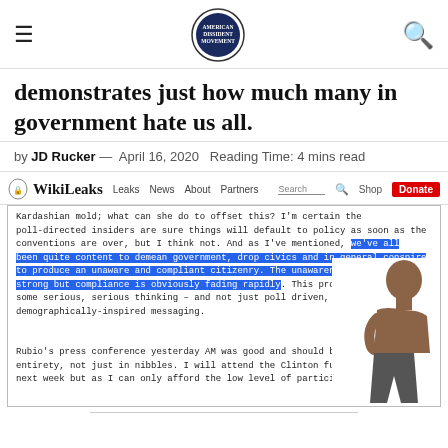≡ [American Dissident Movement logo] 🔍
demonstrates just how much many in government hate us all.
by JD Rucker — April 16, 2020  Reading Time: 4 mins read
[Figure (screenshot): Screenshot of WikiLeaks website showing a document excerpt with text highlighted in blue: 'we've all been quite content to demean government, drop civics and in general conspire to produce an unaware and compliant citizenry. The unawareness remains strong but compliance is obviously fading rapidly.' Additional text visible about Rubio's press conference and Clinton fundraiser. A man thinking is overlaid on the right side of the screenshot.]